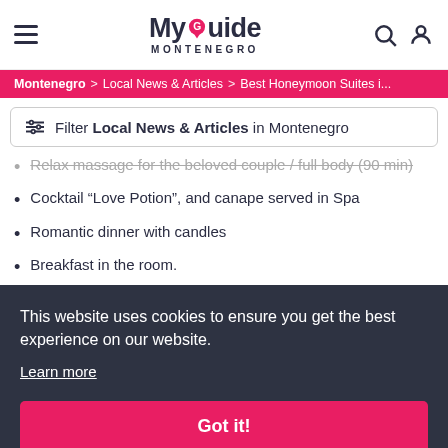MyGuide Montenegro — navigation bar with hamburger menu, logo, search and account icons
Montenegro > Local News & Articles > Best Honeymoon Suites i...
Filter Local News & Articles in Montenegro
Relax massage for the beloved couple / full body (90 min)
Cocktail “Love Potion”, and canape served in Spa
Romantic dinner with candles
Breakfast in the room.
This website uses cookies to ensure you get the best experience on our website.
Learn more
Got it!